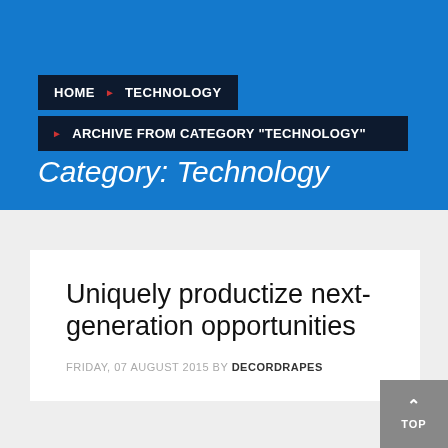HOME > TECHNOLOGY
ARCHIVE FROM CATEGORY "TECHNOLOGY"
Category: Technology
Uniquely productize next-generation opportunities
FRIDAY, 07 AUGUST 2015 BY DECORDRAPES